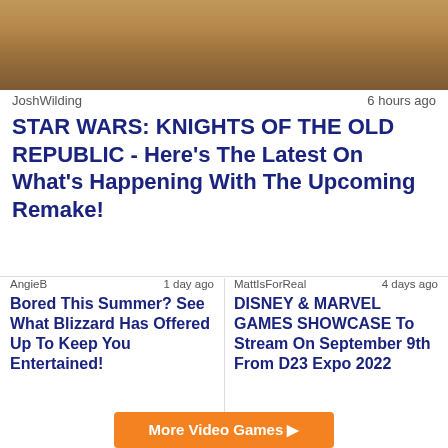[Figure (photo): Hero image showing a warm-toned, blurred scene with golden and brown hues, likely from Star Wars: Knights of the Old Republic]
JoshWilding   6 hours ago
STAR WARS: KNIGHTS OF THE OLD REPUBLIC - Here's The Latest On What's Happening With The Upcoming Remake!
AngieB   1 day ago
Bored This Summer? See What Blizzard Has Offered Up To Keep You Entertained!
MattIsForReal   4 days ago
DISNEY & MARVEL GAMES SHOWCASE To Stream On September 9th From D23 Expo 2022
More Video Games ▶